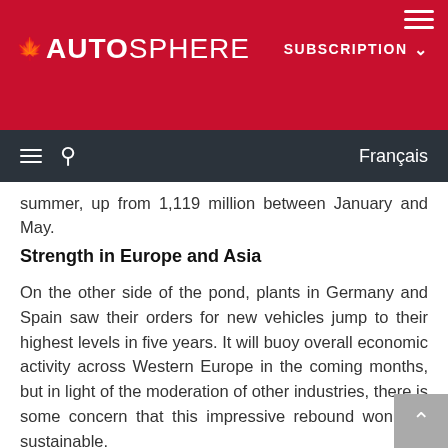AUTOSPHERE | SUBSCRIPTION
summer, up from 1,119 million between January and May.
Strength in Europe and Asia
On the other side of the pond, plants in Germany and Spain saw their orders for new vehicles jump to their highest levels in five years. It will buoy overall economic activity across Western Europe in the coming months, but in light of the moderation of other industries, there is some concern that this impressive rebound won't be sustainable.